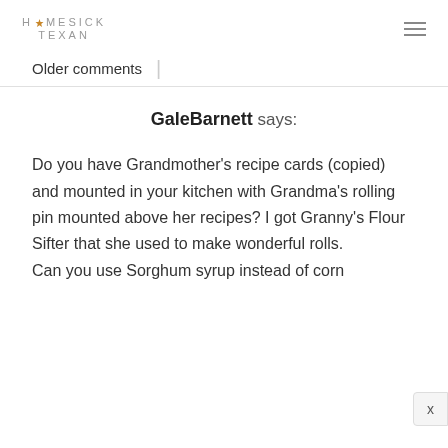HOMESICK TEXAN
Older comments
GaleBarnett says:
Do you have Grandmother's recipe cards (copied) and mounted in your kitchen with Grandma's rolling pin mounted above her recipes? I got Granny's Flour Sifter that she used to make wonderful rolls.
Can you use Sorghum syrup instead of corn